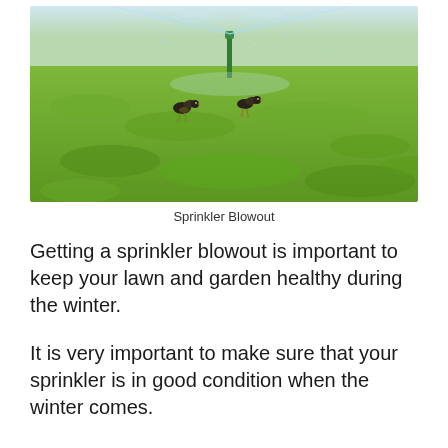[Figure (photo): A lawn with green grass being watered by a sprinkler system. Two birds stand on the grass in the foreground. Water sprays upward from a green sprinkler head in the background against a bright sky.]
Sprinkler Blowout
Getting a sprinkler blowout is important to keep your lawn and garden healthy during the winter.
It is very important to make sure that your sprinkler is in good condition when the winter comes.